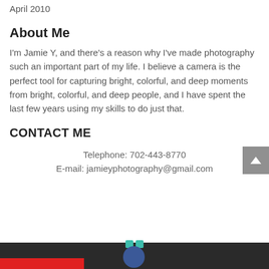April 2010
About Me
I'm Jamie Y, and there's a reason why I've made photography such an important part of my life. I believe a camera is the perfect tool for capturing bright, colorful, and deep moments from bright, colorful, and deep people, and I have spent the last few years using my skills to do just that.
CONTACT ME
Telephone: 702-443-8770
E-mail: jamieyphotography@gmail.com